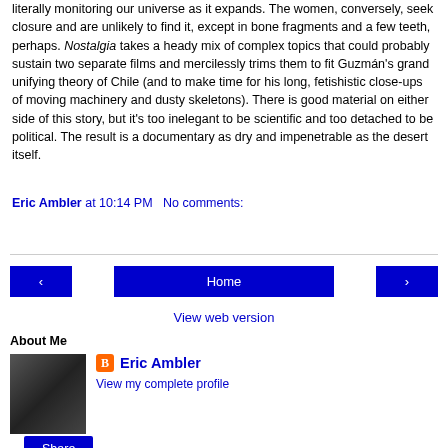literally monitoring our universe as it expands. The women, conversely, seek closure and are unlikely to find it, except in bone fragments and a few teeth, perhaps. Nostalgia takes a heady mix of complex topics that could probably sustain two separate films and mercilessly trims them to fit Guzmán's grand unifying theory of Chile (and to make time for his long, fetishistic close-ups of moving machinery and dusty skeletons). There is good material on either side of this story, but it's too inelegant to be scientific and too detached to be political. The result is a documentary as dry and impenetrable as the desert itself.
Eric Ambler at 10:14 PM   No comments:
Share
‹   Home   ›
View web version
About Me
[Figure (photo): Profile photo showing two people]
Eric Ambler